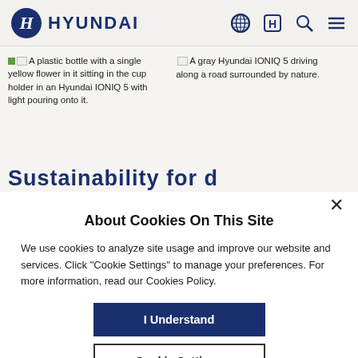[Figure (logo): Hyundai logo: blue oval with H and HYUNDAI wordmark in dark blue]
[Figure (screenshot): Navigation icons: globe, H symbol in box, search, hamburger menu]
A plastic bottle with a single yellow flower in it sitting in the cup holder in an Hyundai IONIQ 5 with light pouring onto it.
A gray Hyundai IONIQ 5 driving along a road surrounded by nature.
Sustainability for d...
About Cookies On This Site
We use cookies to analyze site usage and improve our website and services. Click "Cookie Settings" to manage your preferences. For more information, read our Cookies Policy.
I Understand
Cookie Settings